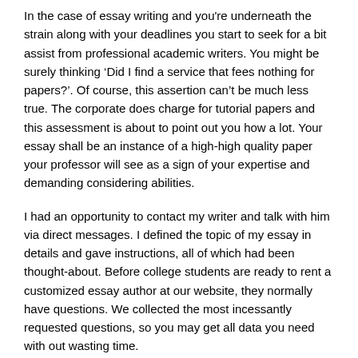In the case of essay writing and you're underneath the strain along with your deadlines you start to seek for a bit assist from professional academic writers. You might be surely thinking ‘Did I find a service that fees nothing for papers?’. Of course, this assertion can’t be much less true. The corporate does charge for tutorial papers and this assessment is about to point out you how a lot. Your essay shall be an instance of a high-high quality paper your professor will see as a sign of your expertise and demanding considering abilities.
I had an opportunity to contact my writer and talk with him via direct messages. I defined the topic of my essay in details and gave instructions, all of which had been thought-about. Before college students are ready to rent a customized essay author at our website, they normally have questions. We collected the most incessantly requested questions, so you may get all data you need with out wasting time.
Practical essay writing service reddit Methods Revealed
If you mix all these components, the result’s evident: you’re about